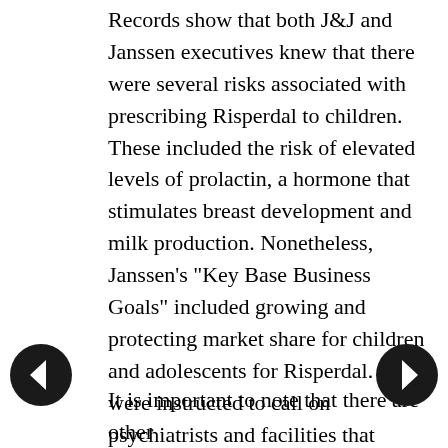Records show that both J&J and Janssen executives knew that there were several risks associated with prescribing Risperdal to children. These included the risk of elevated levels of prolactin, a hormone that stimulates breast development and milk production. Nonetheless, Janssen's "Key Base Business Goals" included growing and protecting market share for children and adolescents for Risperdal. Reps were instructed to call on psychiatrists and facilities that treated children, and to promote Risperdal as a safe and effective drug for children with attention deficit disorder, oppositional defiant disorder, obsessive-compulsive disorder, and autism. The company was warned repeatedly by FDA not to promote the drug for use in children.
It is important to note that there are other
[Figure (other): Left navigation arrow button (dark circle with left-pointing arrow)]
[Figure (other): Right navigation arrow button (dark circle with right-pointing arrow)]